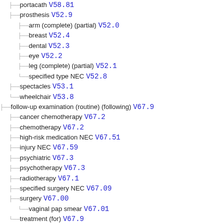portacath V58.81
prosthesis V52.9
arm (complete) (partial) V52.0
breast V52.4
dental V52.3
eye V52.2
leg (complete) (partial) V52.1
specified type NEC V52.8
spectacles V53.1
wheelchair V53.8
follow-up examination (routine) (following) V67.9
cancer chemotherapy V67.2
chemotherapy V67.2
high-risk medication NEC V67.51
injury NEC V67.59
psychiatric V67.3
psychotherapy V67.3
radiotherapy V67.1
specified surgery NEC V67.09
surgery V67.00
vaginal pap smear V67.01
treatment (for) V67.9